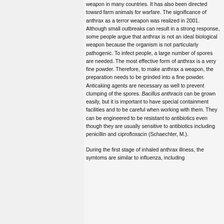weapon in many countries. It has also been directed toward farm animals for warfare. The significance of anthrax as a terror weapon was realized in 2001. Although small outbreaks can result in a strong response, some people argue that anthrax is not an ideal biological weapon because the organism is not particularly pathogenic. To infect people, a large number of spores are needed. The most effective form of anthrax is a very fine powder. Therefore, to make anthrax a weapon, the preparation needs to be grinded into a fine powder. Anticaking agents are necessary as well to prevent clumping of the spores. Bacillus anthracis can be grown easily, but it is important to have special containment facilities and to be careful when working with them. They can be engineered to be resistant to antibiotics even though they are usually sensitive to antibiotics including penicillin and ciprofloxacin (Schaechter, M.).
During the first stage of inhaled anthrax illness, the symtoms are similar to influenza, including